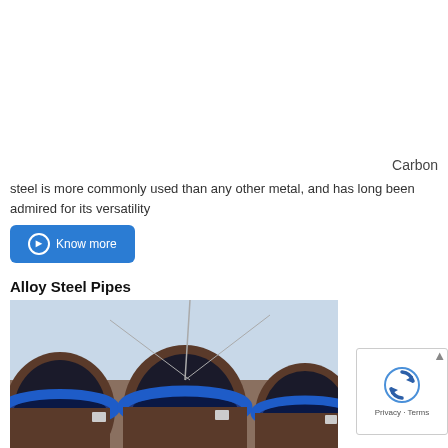Carbon steel is more commonly used than any other metal, and has long been admired for its versatility
Know more
Alloy Steel Pipes
[Figure (photo): Large diameter alloy steel pipes with blue end caps stacked together, viewed from the ends showing hollow circular cross-sections]
[Figure (other): reCAPTCHA widget showing spinning arrows icon with Privacy and Terms text]